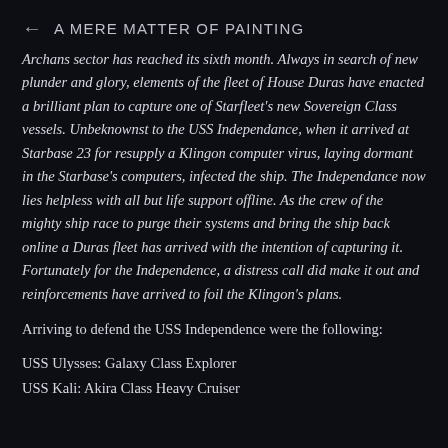← A MERE MATTER OF PAINTING
Archans sector has reached its sixth month. Always in search of new plunder and glory, elements of the fleet of House Duras have enacted a brilliant plan to capture one of Starfleet's new Sovereign Class vessels. Unbeknownst to the USS Independance, when it arrived at Starbase 23 for resupply a Klingon computer virus, laying dormant in the Starbase's computers, infected the ship. The Independance now lies helpless with all but life support offline. As the crew of the mighty ship race to purge their systems and bring the ship back online a Duras fleet has arrived with the intention of capturing it. Fortunately for the Independence, a distress call did make it out and reinforcements have arrived to foil the Klingon's plans.
Arriving to defend the USS Independence were the following:
USS Ulysses: Galaxy Class Explorer
USS Kali: Akira Class Heavy Cruiser